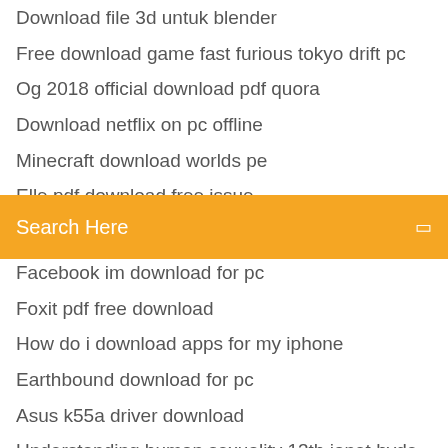Download file 3d untuk blender
Free download game fast furious tokyo drift pc
Og 2018 official download pdf quora
Download netflix on pc offline
Minecraft download worlds pe
Elle pdf download free issue
Gta lcs pc version download
Search Here
Facebook im download for pc
Foxit pdf free download
How do i download apps for my iphone
Earthbound download for pc
Asus k55a driver download
Understanding human sexuality 13th janet hyde pdf download
Arma 3 bloodlust file download
Catch flight kodak black clean version download
Warren survey of accounting 8th edition pdf download